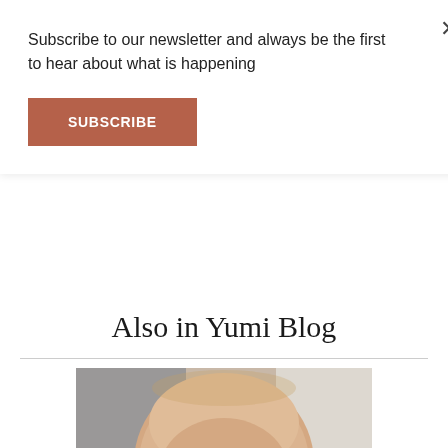Subscribe to our newsletter and always be the first to hear about what is happening
SUBSCRIBE
Also in Yumi Blog
[Figure (photo): Close-up photograph of a newborn baby with eyes open, wearing white clothing, lying down with hand near chin]